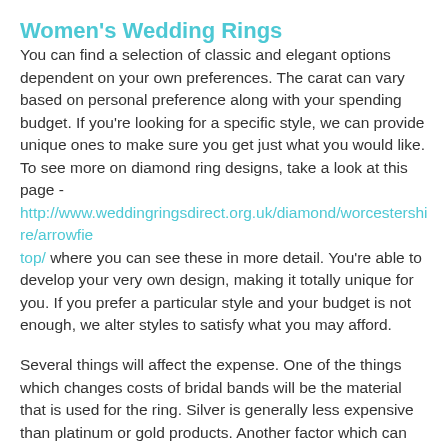Women's Wedding Rings
You can find a selection of classic and elegant options dependent on your own preferences. The carat can vary based on personal preference along with your spending budget. If you're looking for a specific style, we can provide unique ones to make sure you get just what you would like. To see more on diamond ring designs, take a look at this page - http://www.weddingringsdirect.org.uk/diamond/worcestershire/arrowfield-top/ where you can see these in more detail. You're able to develop your very own design, making it totally unique for you. If you prefer a particular style and your budget is not enough, we alter styles to satisfy what you may afford.
Several things will affect the expense. One of the things which changes costs of bridal bands will be the material that is used for the ring. Silver is generally less expensive than platinum or gold products. Another factor which can affect the price of a ring would be the weight. If you tell us your budget in advance, then our staff can help you pick a ring you can afford. The cut of the ring could also have an effect upon the price; if you need more info on the